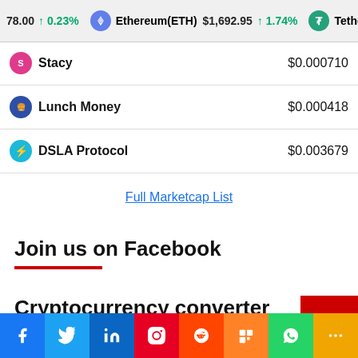78.00 ↑ 0.23% Ethereum(ETH) $1,692.95 ↑ 1.74% Tether(U...
| Coin | Price |
| --- | --- |
| Stacy | $0.000710 |
| Lunch Money | $0.000418 |
| DSLA Protocol | $0.003679 |
Full Marketcap List
Join us on Facebook
Cryptocurrency converter
Facebook Twitter LinkedIn Pinterest Reddit Mix WhatsApp More